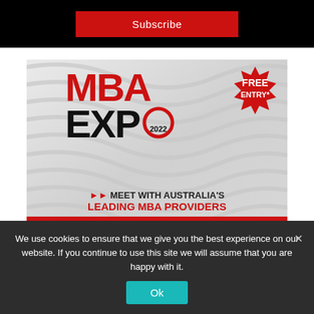[Figure (infographic): Black banner at top with red Subscribe button]
[Figure (infographic): MBA Expo 2022 advertisement banner with wavy grey background. Shows MBA EXPO 2022 logo in red and black, FREE ENTRY badge top right, tagline 'MEET WITH AUSTRALIA'S LEADING MBA PROVIDERS', and red MORE INFO button at bottom.]
We use cookies to ensure that we give you the best experience on our website. If you continue to use this site we will assume that you are happy with it.
Ok